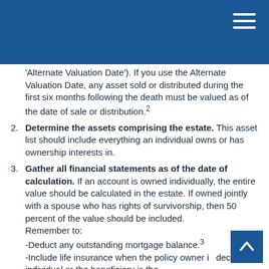'Alternate Valuation Date'). If you use the Alternate Valuation Date, any asset sold or distributed during the first six months following the death must be valued as of the date of sale or distribution.²
2. Determine the assets comprising the estate. This asset list should include everything an individual owns or has ownership interests in.
3. Gather all financial statements as of the date of calculation. If an account is owned individually, the entire value should be calculated in the estate. If owned jointly with a spouse who has rights of survivorship, then 50 percent of the value should be included. Remember to: -Deduct any outstanding mortgage balance.³ -Include life insurance when the policy owner is the deceased individual or the beneficiary is the decedent's estate.³